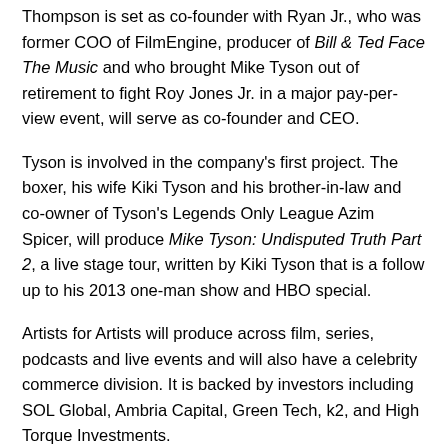Thompson is set as co-founder with Ryan Jr., who was former COO of FilmEngine, producer of Bill & Ted Face The Music and who brought Mike Tyson out of retirement to fight Roy Jones Jr. in a major pay-per-view event, will serve as co-founder and CEO.
Tyson is involved in the company's first project. The boxer, his wife Kiki Tyson and his brother-in-law and co-owner of Tyson's Legends Only League Azim Spicer, will produce Mike Tyson: Undisputed Truth Part 2, a live stage tour, written by Kiki Tyson that is a follow up to his 2013 one-man show and HBO special.
Artists for Artists will produce across film, series, podcasts and live events and will also have a celebrity commerce division. It is backed by investors including SOL Global, Ambria Capital, Green Tech, k2, and High Torque Investments.